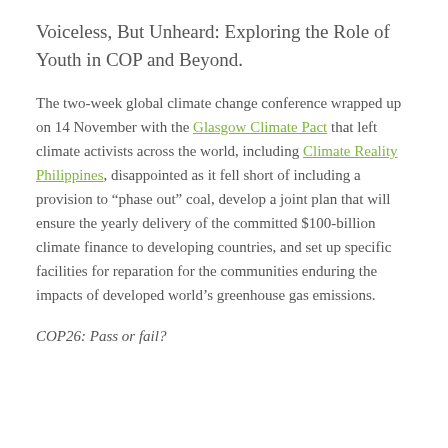Voiceless, But Unheard: Exploring the Role of Youth in COP and Beyond.
The two-week global climate change conference wrapped up on 14 November with the Glasgow Climate Pact that left climate activists across the world, including Climate Reality Philippines, disappointed as it fell short of including a provision to “phase out” coal, develop a joint plan that will ensure the yearly delivery of the committed $100-billion climate finance to developing countries, and set up specific facilities for reparation for the communities enduring the impacts of developed world’s greenhouse gas emissions.
COP26: Pass or fail?